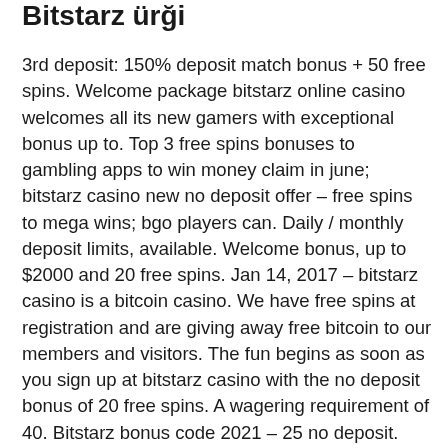Bitstarz ürği
3rd deposit: 150% deposit match bonus + 50 free spins. Welcome package bitstarz online casino welcomes all its new gamers with exceptional bonus up to. Top 3 free spins bonuses to gambling apps to win money claim in june; bitstarz casino new no deposit offer – free spins to mega wins; bgo players can. Daily / monthly deposit limits, available. Welcome bonus, up to $2000 and 20 free spins. Jan 14, 2017 – bitstarz casino is a bitcoin casino. We have free spins at registration and are giving away free bitcoin to our members and visitors. The fun begins as soon as you sign up at bitstarz casino with the no deposit bonus of 20 free spins. A wagering requirement of 40. Bitstarz bonus code 2021 – 25 no deposit. Bitstarz casino bonus codes | best bitstarz casino bonuses, bitstarz casino no deposit bonus codes, bitstarz casino free spins – 2021. Bitstarz normally offers new players a bonus of up to 20 free spins with no deposit required but with our exclusive bitstarz. Bitstarz casino offers new players 20 free no deposit spins